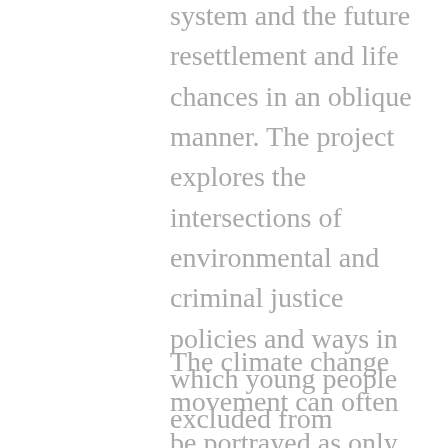system and the future resettlement and life chances in an oblique manner. The project explores the intersections of environmental and criminal justice policies and ways in which young people excluded from mainstream education are able to meaningfully engage in debates about the environment. The resulting board game is a framework to have conversations, whilst engaged in a playful activity.
The climate change movement can often be portrayed as only accessible to those with the privilege of having the time and the